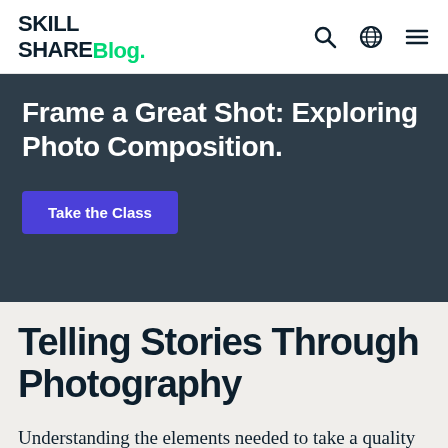Skillshare Blog.
[Figure (screenshot): Dark teal/slate banner with text 'Frame a Great Shot: Exploring Photo Composition.' and a purple 'Take the Class' button]
Telling Stories Through Photography
Understanding the elements needed to take a quality picture is only part of the learning